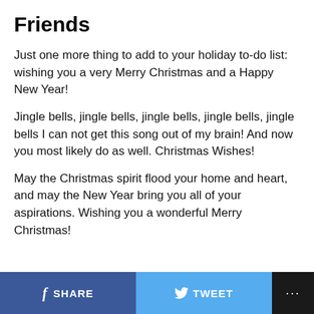Friends
Just one more thing to add to your holiday to-do list: wishing you a very Merry Christmas and a Happy New Year!
Jingle bells, jingle bells, jingle bells, jingle bells, jingle bells I can not get this song out of my brain! And now you most likely do as well. Christmas Wishes!
May the Christmas spirit flood your home and heart, and may the New Year bring you all of your aspirations. Wishing you a wonderful Merry Christmas!
SHARE   TWEET   ...